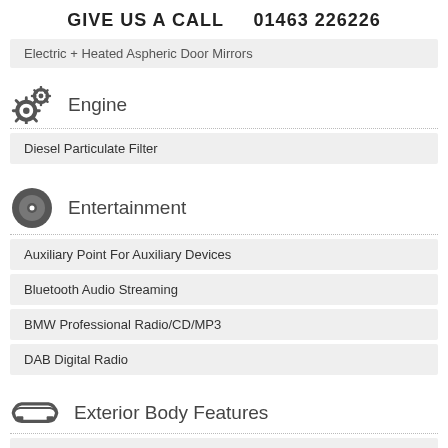GIVE US A CALL   01463 226226
Electric + Heated Aspheric Door Mirrors
Engine
Diesel Particulate Filter
Entertainment
Auxiliary Point For Auxiliary Devices
Bluetooth Audio Streaming
BMW Professional Radio/CD/MP3
DAB Digital Radio
Exterior Body Features
Body Colour Door Handles